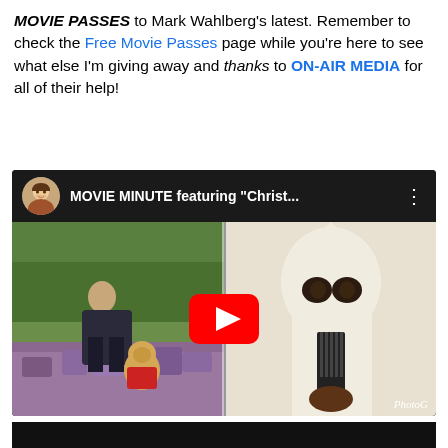MOVIE PASSES to Mark Wahlberg's latest. Remember to check the Free Movie Passes page while you're here to see what else I'm giving away and thanks to ON-AIR MEDIA for all of their help!
[Figure (screenshot): YouTube video embed showing 'MOVIE MINUTE featuring Christ...' with a split thumbnail of a Christopher Robin movie scene on the left and a figure in a white hood from BlacKkKlansman on the right, with a red YouTube play button overlay.]